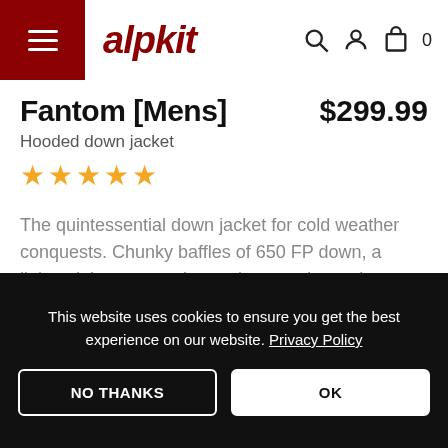alpkit
Fantom [Mens] $299.99
Hooded down jacket
[Figure (other): Five gold star rating icons]
The quintessential down jacket for cold weather conquests. Chunky baffles of 650 FP down, a lightweight construction and mountain-ready features Read more
This website uses cookies to ensure you get the best experience on our website. Privacy Policy